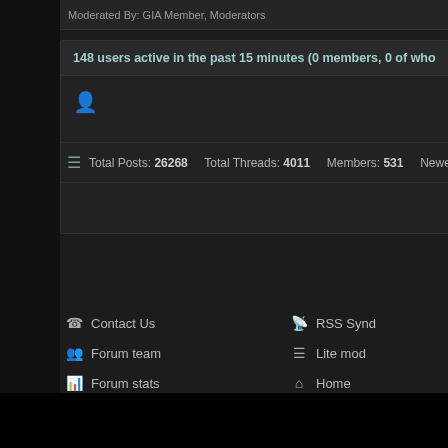Moderated By: GIA Member, Moderators
148 users active in the past 15 minutes (0 members, 0 of whom are invisible)
Total Posts: 26268   Total Threads: 4011   Members: 531   Newest Member:
Contact Us   Forum team   Forum stats   Return to Top   RSS Syndication   Lite mode   Home   Help